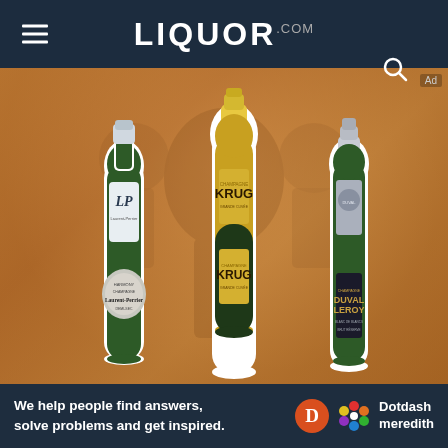LIQUOR.COM
[Figure (photo): Three champagne bottles displayed against a warm orange/amber textured background. Left bottle is Laurent-Perrier Harmony Champagne Demi-Sec in a green bottle with silver/white label showing 'LP' monogram. Center bottle is Krug Champagne in a dark green bottle with gold foil and yellow/gold label. Right bottle is Duval-Leroy Champagne in a green bottle with dark label showing ornate branding.]
We help people find answers, solve problems and get inspired.
[Figure (logo): Dotdash Meredith logo with orange circle D icon, colorful flower/asterisk icon, and text 'Dotdash meredith']